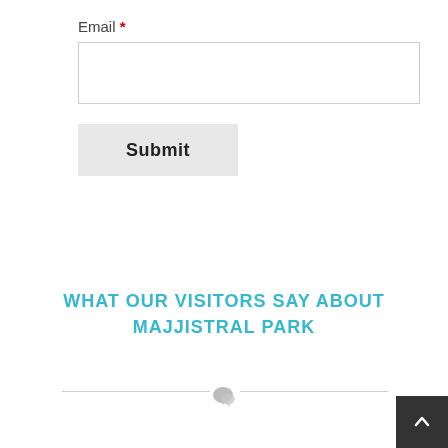Email *
[Figure (screenshot): Email input text field, empty, with a thin gray border]
[Figure (screenshot): Submit button with dark bold text on light gray background]
WHAT OUR VISITORS SAY ABOUT MAJJISTRAL PARK
[Figure (other): Horizontal divider lines with a speech bubble / comment icon in the center]
[Figure (other): Back to top button, dark square with upward arrow, bottom right corner]